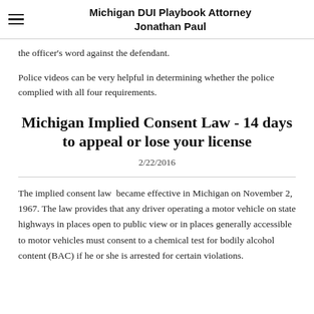Michigan DUI Playbook Attorney Jonathan Paul
the officer's word against the defendant.
Police videos can be very helpful in determining whether the police complied with all four requirements.
Michigan Implied Consent Law - 14 days to appeal or lose your license
2/22/2016
The implied consent law  became effective in Michigan on November 2, 1967. The law provides that any driver operating a motor vehicle on state highways in places open to public view or in places generally accessible to motor vehicles must consent to a chemical test for bodily alcohol content (BAC) if he or she is arrested for certain violations.